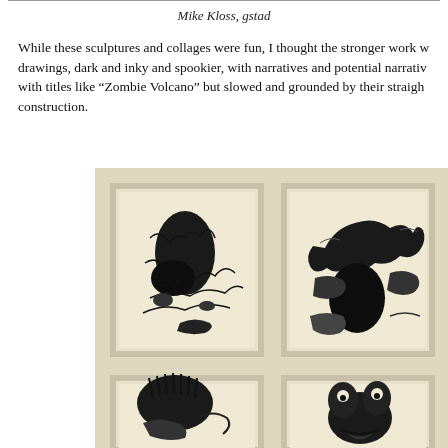Mike Kloss, gstad
While these sculptures and collages were fun, I thought the stronger work w... drawings, dark and inky and spookier, with narratives and potential narrativ... with titles like “Zombie Volcano” but slowed and grounded by their straigh... construction.
[Figure (photo): Photograph of a gallery wall showing four framed black-and-white ink drawings hung in two rows. The top two fully visible frames contain dense, dark ink drawings with organic, spooky imagery. The bottom two frames are partially visible.]